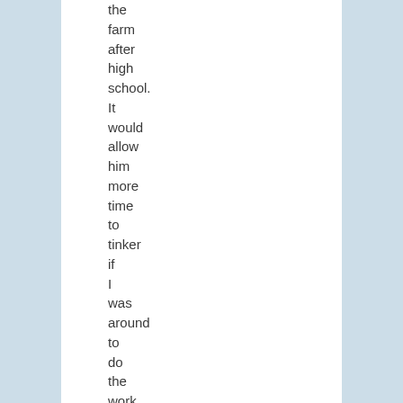the farm after high school. It would allow him more time to tinker if I was around to do the work involved with